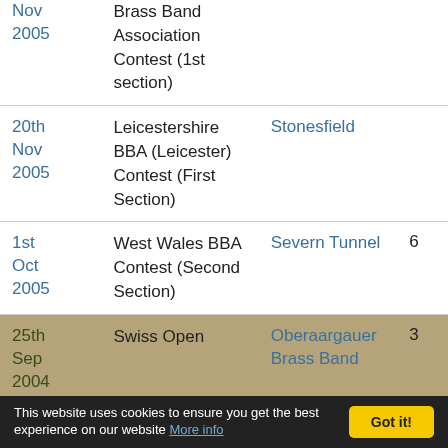| Date | Event | Venue | Place |
| --- | --- | --- | --- |
| Nov 2005 | Brass Band Association Contest (1st section) |  |  |
| 20th Nov 2005 | Leicestershire BBA (Leicester) Contest (First Section) | Stonesfield |  |
| 1st Oct 2005 | West Wales BBA Contest (Second Section) | Severn Tunnel | 6 |
| 25th Sep 2004 | Swiss Open | Oberaargauer Brass Band | 3 |
| 8th | Brass At The Guild | Hesketh Bank | 13 |
This website uses cookies to ensure you get the best experience on our website More info Got it!